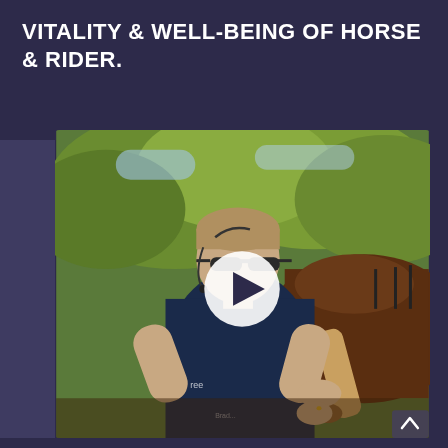VITALITY & WELL-BEING OF HORSE & RIDER.
[Figure (photo): A man wearing sunglasses, a headset microphone, and a dark navy polo shirt is leaning over and handling the raised leg of a brown horse. Green trees are visible in the background. A white circular play button is overlaid in the center of the image, indicating a video thumbnail.]